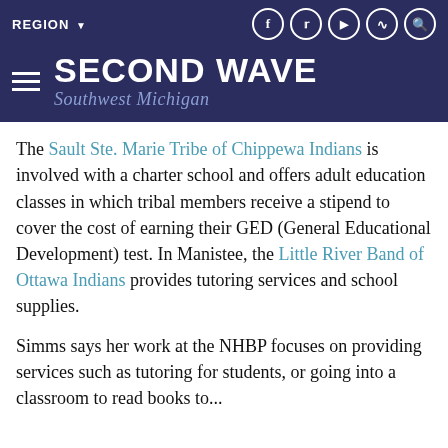SECOND WAVE Southwest Michigan
The Sault Ste. Marie Tribe of Chippewa Indians is involved with a charter school and offers adult education classes in which tribal members receive a stipend to cover the cost of earning their GED (General Educational Development) test. In Manistee, the Little River Band of Ottawa Indians provides tutoring services and school supplies.
Simms says her work at the NHBP focuses on providing services such as tutoring for students, or going into a classroom to read books to...